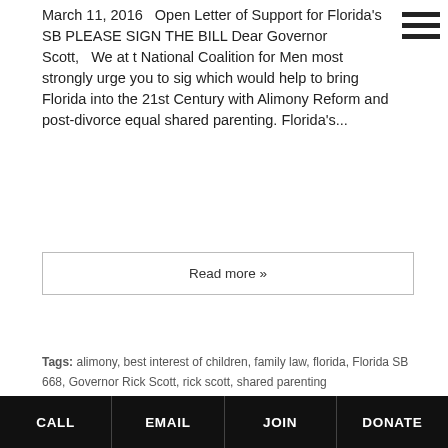March 11, 2016   Open Letter of Support for Florida's SB PLEASE SIGN THE BILL Dear Governor Scott,   We at the National Coalition for Men most strongly urge you to sign which would help to bring Florida into the 21st Century with Alimony Reform and post-divorce equal shared parenting. Florida's...
Read more »
Tags: alimony, best interest of children, family law, florida, Florida SB 668, Governor Rick Scott, rick scott, shared parenting
Posted in Alimony, Child Custody, Child Support, NCFM, Shared Parenting | 2 Comments »
NCFM Advisor GORDON E. FINLEY Ph.D. Professor of Psychology Emeritus Governor waging war on men vetoed
CALL   EMAIL   JOIN   DONATE